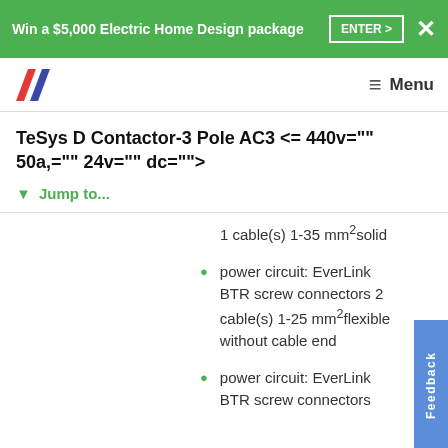Win a $5,000 Electric Home Design package  ENTER >  ×
Menu
TeSys D Contactor-3 Pole AC3 <= 440v="" 50a,="" 24v="" dc="">
▼ Jump to...
1 cable(s) 1-35 mm²solid
power circuit: EverLink BTR screw connectors 2 cable(s) 1-25 mm²flexible without cable end
power circuit: EverLink BTR screw connectors